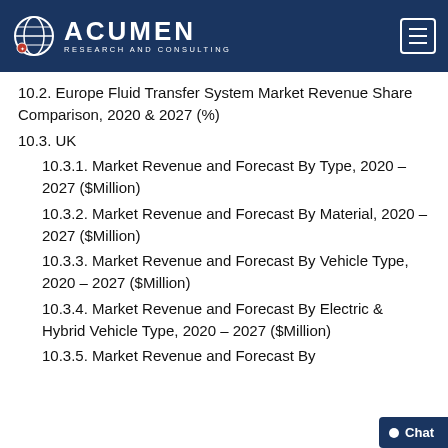Acumen Research and Consulting
10.2. Europe Fluid Transfer System Market Revenue Share Comparison, 2020 & 2027 (%)
10.3. UK
10.3.1. Market Revenue and Forecast By Type, 2020 – 2027 ($Million)
10.3.2. Market Revenue and Forecast By Material, 2020 – 2027 ($Million)
10.3.3. Market Revenue and Forecast By Vehicle Type, 2020 – 2027 ($Million)
10.3.4. Market Revenue and Forecast By Electric & Hybrid Vehicle Type, 2020 – 2027 ($Million)
10.3.5. Market Revenue and Forecast By